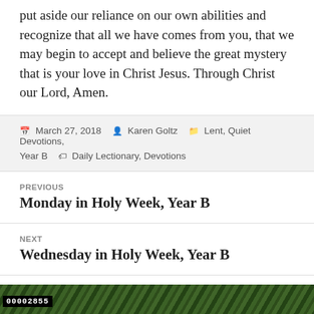put aside our reliance on our own abilities and recognize that all we have comes from you, that we may begin to accept and believe the great mystery that is your love in Christ Jesus. Through Christ our Lord, Amen.
March 27, 2018  Karen Goltz  Lent, Quiet Devotions, Year B  Daily Lectionary, Devotions
PREVIOUS
Monday in Holy Week, Year B
NEXT
Wednesday in Holy Week, Year B
Proudly powered by WordPress
[Figure (photo): Green foliage/grass image strip at bottom of page with barcode label '00002855']